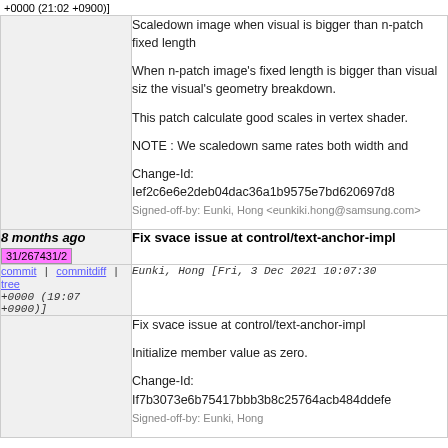+0000 (21:02 +0900)]
Scaledown image when visual is bigger than n-patch fixed length

When n-patch image's fixed length is bigger than visual size, it causes wrong the visual's geometry breakdown.

This patch calculate good scales in vertex shader.

NOTE : We scaledown same rates both width and

Change-Id: Ief2c6e6e2deb04dac36a1b9575e7bd620697d8...
Signed-off-by: Eunki, Hong <eunkiki.hong@samsung.com>
8 months ago
31/267431/2
Fix svace issue at control/text-anchor-impl
commit | commitdiff | tree
Eunki, Hong [Fri, 3 Dec 2021 10:07:30 +0000 (19:07 +0900)]
Fix svace issue at control/text-anchor-impl

Initialize member value as zero.

Change-Id: If7b3073e6b75417bbb3b8c25764acb484ddefe...
Signed-off-by: Eunki, Hong